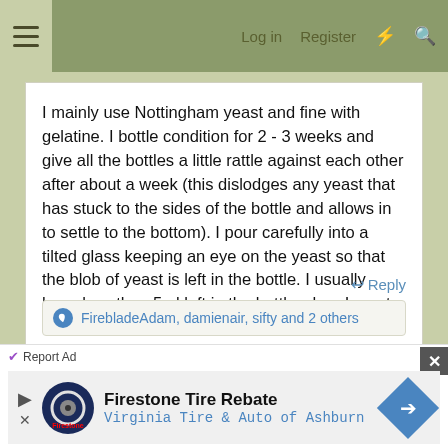≡  Log in  Register  ⚡  🔍
I mainly use Nottingham yeast and fine with gelatine. I bottle condition for 2 - 3 weeks and give all the bottles a little rattle against each other after about a week (this dislodges any yeast that has stuck to the sides of the bottle and allows in to settle to the bottom). I pour carefully into a tilted glass keeping an eye on the yeast so that the blob of yeast is left in the bottle. I usually have less than 5ml left in the bottle when I empty it for rinsing.
↩ Reply
FirebladeAdam, damienair, sifty and 2 others
[Figure (screenshot): Advertisement banner: Firestone Tire Rebate - Virginia Tire & Auto of Ashburn with logo and navigation arrow]